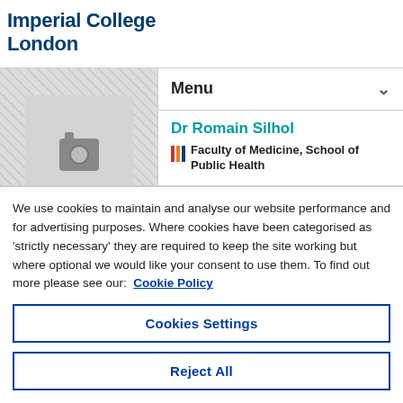Imperial College London
[Figure (screenshot): Imperial College London profile page showing a placeholder photo icon with camera symbol, a Menu bar with chevron, Dr Romain Silhol name in teal, and Faculty of Medicine, School of Public Health in bold with colored bars]
We use cookies to maintain and analyse our website performance and for advertising purposes. Where cookies have been categorised as 'strictly necessary' they are required to keep the site working but where optional we would like your consent to use them. To find out more please see our: Cookie Policy
Cookies Settings
Reject All